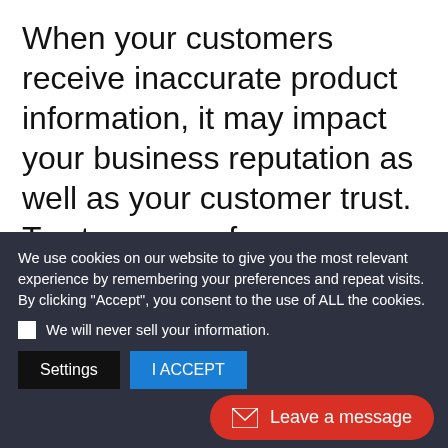When your customers receive inaccurate product information, it may impact your business reputation as well as your customer trust. To steer away from providing misleading information, make your product offerings searchable and
We use cookies on our website to give you the most relevant experience by remembering your preferences and repeat visits. By clicking "Accept", you consent to the use of ALL the cookies.
We will never sell your information.
Settings | I ACCEPT
Leave a message